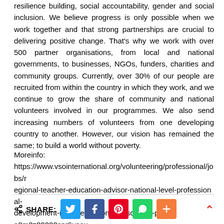resilience building, social accountability, gender and social inclusion. We believe progress is only possible when we work together and that strong partnerships are crucial to delivering positive change. That's why we work with over 500 partner organisations, from local and national governments, to businesses, NGOs, funders, charities and community groups. Currently, over 30% of our people are recruited from within the country in which they work, and we continue to grow the share of community and national volunteers involved in our programmes. We also send increasing numbers of volunteers from one developing country to another. However, our vision has remained the same; to build a world without poverty.
Moreinfo:
https://www.vsointernational.org/volunteering/professional/jobs/regional-teacher-education-advisor-national-level-professional-development-in-upper-secondary-schools-pduss-a0m3z00000cnr6vaax
SHARE: